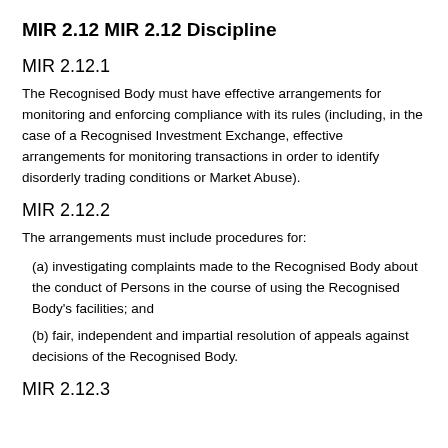MIR 2.12 MIR 2.12 Discipline
MIR 2.12.1
The Recognised Body must have effective arrangements for monitoring and enforcing compliance with its rules (including, in the case of a Recognised Investment Exchange, effective arrangements for monitoring transactions in order to identify disorderly trading conditions or Market Abuse).
MIR 2.12.2
The arrangements must include procedures for:
(a) investigating complaints made to the Recognised Body about the conduct of Persons in the course of using the Recognised Body's facilities; and
(b) fair, independent and impartial resolution of appeals against decisions of the Recognised Body.
MIR 2.12.3